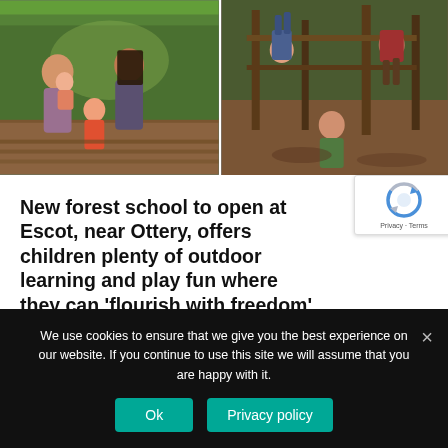[Figure (photo): Two side-by-side photos: left shows adults and children playing outdoors at a forest school setting with wooden surfaces; right shows children playing in a muddy outdoor woodland environment]
New forest school to open at Escot, near Ottery, offers children plenty of outdoor learning and play fun where they can 'flourish with freedom'
By BECCA GLIDDON — 12th February 2022
There is a new opportunity for children in Exeter and East Devon to enjoy outdoor...
We use cookies to ensure that we give you the best experience on our website. If you continue to use this site we will assume that you are happy with it.